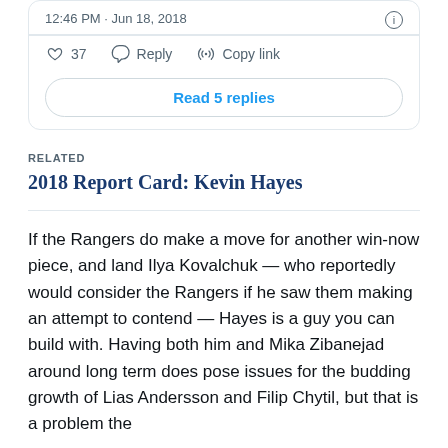12:46 PM · Jun 18, 2018
37  Reply  Copy link
Read 5 replies
RELATED
2018 Report Card: Kevin Hayes
If the Rangers do make a move for another win-now piece, and land Ilya Kovalchuk — who reportedly would consider the Rangers if he saw them making an attempt to contend — Hayes is a guy you can build with. Having both him and Mika Zibanejad around long term does pose issues for the budding growth of Lias Andersson and Filip Chytil, but that is a problem the